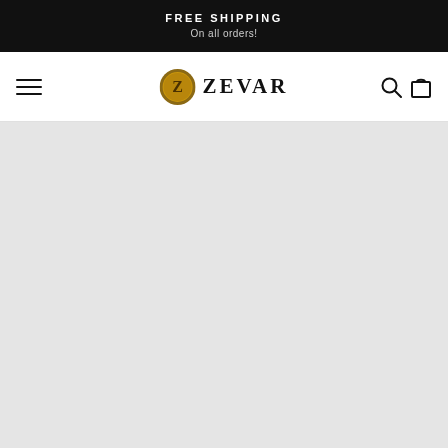FREE SHIPPING
On all orders!
[Figure (logo): Zevar brand logo with gold coin bearing letter Z and text ZEVAR]
[Figure (screenshot): Light gray main content area below navigation bar]